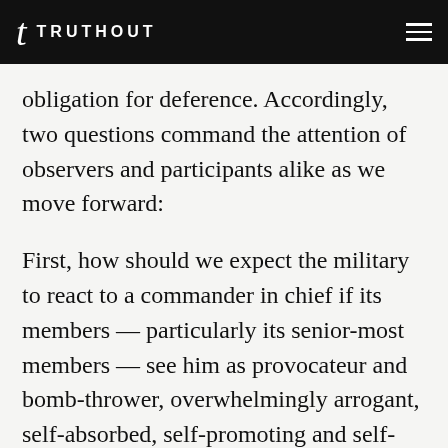TRUTHOUT
obligation for deference. Accordingly, two questions command the attention of observers and participants alike as we move forward:
First, how should we expect the military to react to a commander in chief if its members — particularly its senior-most members — see him as provocateur and bomb-thrower, overwhelmingly arrogant, self-absorbed, self-promoting and self-serving, insensitively domineering, willfully ignorant of strategic affairs; who arbitrarily attacks, demeans, and